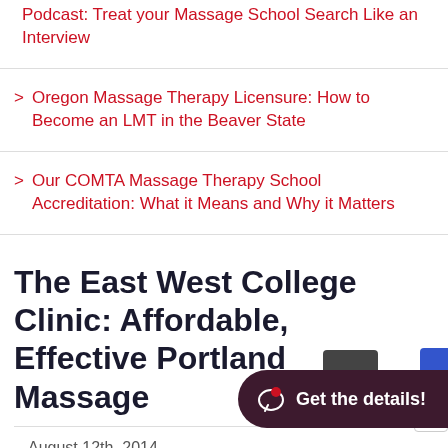Podcast: Treat your Massage School Search Like an Interview
Oregon Massage Therapy Licensure: How to Become an LMT in the Beaver State
Our COMTA Massage Therapy School Accreditation: What it Means and Why it Matters
The East West College Clinic: Affordable, Effective Portland Massage
August 12th, 2014